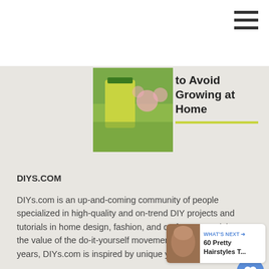[Figure (photo): Person spraying yellow bottle near pink flowers in garden]
to Avoid Growing at Home
DIYS.COM
DIYs.com is an up-and-coming community of people specialized in high-quality and on-trend DIY projects and tutorials in home design, fashion, and crafts. Recognizing the value of the do-it-yourself movement of the last several years, DIYs.com is inspired by unique yet replicable ideas.
Because everyone's style is individual, customized pieces with high-end look are what we're always after.
[Figure (photo): What's Next panel showing 60 Pretty Hairstyles T... with thumbnail of person with hair style]